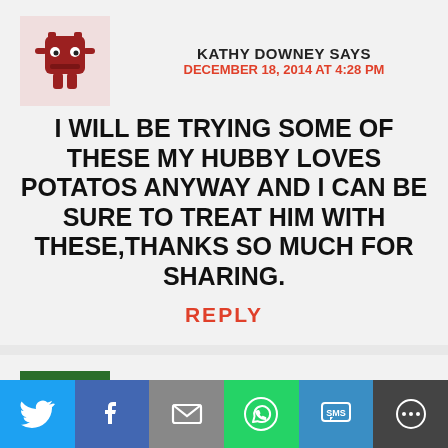KATHY DOWNEY SAYS
DECEMBER 18, 2014 AT 4:28 PM
I WILL BE TRYING SOME OF THESE MY HUBBY LOVES POTATOS ANYWAY AND I CAN BE SURE TO TREAT HIM WITH THESE,THANKS SO MUCH FOR SHARING.
REPLY
DEB E SAYS
DECEMBER 18, 2014 AT 2:26 PM